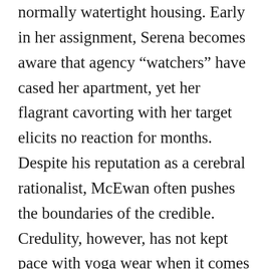normally watertight housing. Early in her assignment, Serena becomes aware that agency “watchers” have cased her apartment, yet her flagrant cavorting with her target elicits no reaction for months. Despite his reputation as a cerebral rationalist, McEwan often pushes the boundaries of the credible. Credulity, however, has not kept pace with yoga wear when it comes to elasticity and the novel’s ending comes off as something of a groaner. The constant insider references are also a tad clubby, although it’s safe to say many readers will revel in them for this very reason.